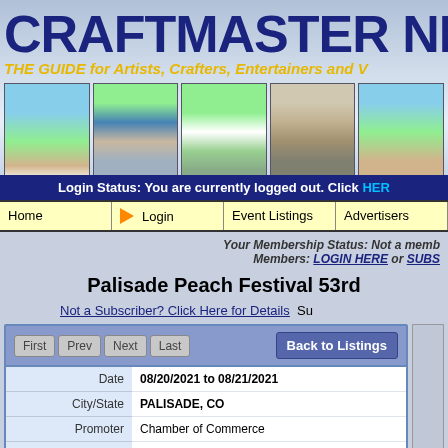[Figure (screenshot): Craftmaster News website header banner with logo title and photos of outdoor craft fairs]
Login Status: You are currently logged out. Click HERE
Home | Login | Event Listings | Advertisers
Your Membership Status: Not a member. Members: LOGIN HERE or SUBSCRIBE
Palisade Peach Festival 53rd
Not a Subscriber? Click Here for Details
| Field | Value |
| --- | --- |
| Date | 08/20/2021 to 08/21/2021 |
| City/State | PALISADE, CO |
| Promoter | Chamber of Commerce |
| Event Name | Palisade Peach Festival 53rd |
| Contact Person | (On file for subscribers) |
| Phone# | (On file for subscribers) |